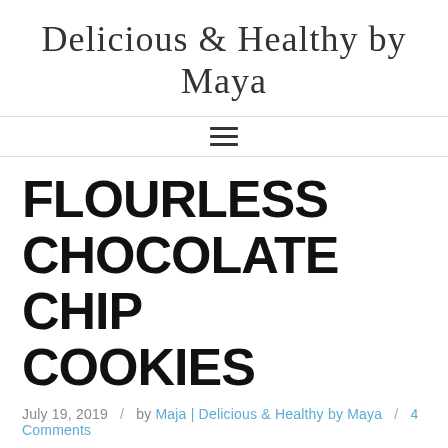Delicious & Healthy by Maya
FLOURLESS CHOCOLATE CHIP COOKIES
July 19, 2019 / by Maja | Delicious & Healthy by Maya / 4 Comments